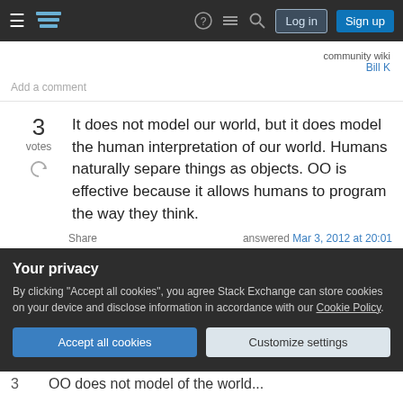Stack Exchange navigation bar with Log in and Sign up buttons
community wiki
Bill K
Add a comment
3
votes
It does not model our world, but it does model the human interpretation of our world. Humans naturally separe things as objects. OO is effective because it allows humans to program the way they think.
Share
answered Mar 3, 2012 at 20:01
Your privacy
By clicking "Accept all cookies", you agree Stack Exchange can store cookies on your device and disclose information in accordance with our Cookie Policy.
Accept all cookies
Customize settings